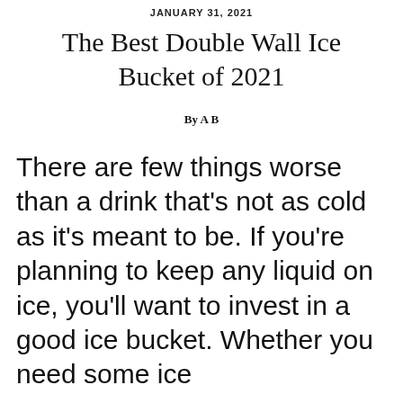JANUARY 31, 2021
The Best Double Wall Ice Bucket of 2021
By A B
There are few things worse than a drink that’s not as cold as it’s meant to be. If you’re planning to keep any liquid on ice, you’ll want to invest in a good ice bucket. Whether you need some ice